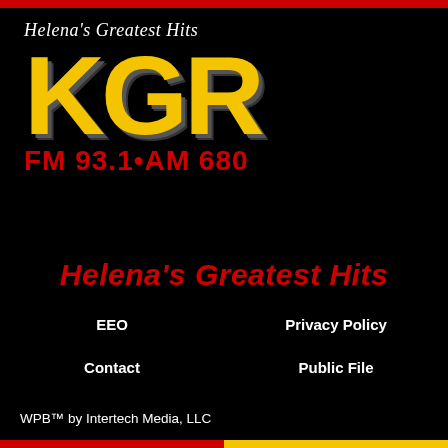[Figure (logo): KGR radio station logo — Helena's Greatest Hits, FM 93.1 · AM 680, large yellow KGR letters with red frequency text on black background]
Helena's Greatest Hits
EEO
Privacy Policy
Contact
Public File
WPB™ by Intertech Media, LLC